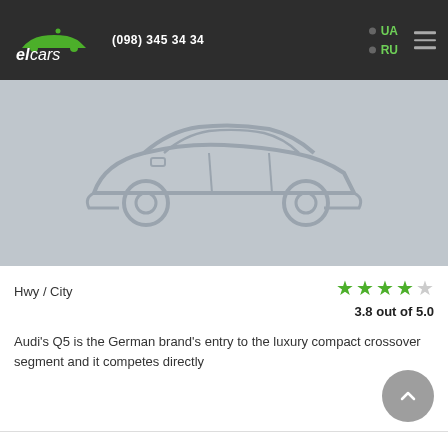elcars | (098) 345 34 34 | UA | RU
[Figure (illustration): Placeholder car silhouette image on a light grey background]
Hwy / City
3.8 out of 5.0
Audi's Q5 is the German brand's entry to the luxury compact crossover segment and it competes directly